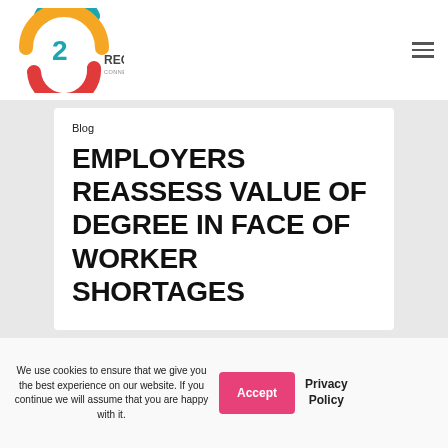[Figure (logo): 2C Recruitment logo with teal, yellow and red circular arrow shapes and text 'RECRUITMENT CONNECTING YOU WITH TALENT']
Blog
EMPLOYERS REASSESS VALUE OF DEGREE IN FACE OF WORKER SHORTAGES
We use cookies to ensure that we give you the best experience on our website. If you continue we will assume that you are happy with it.
Accept
Privacy Policy